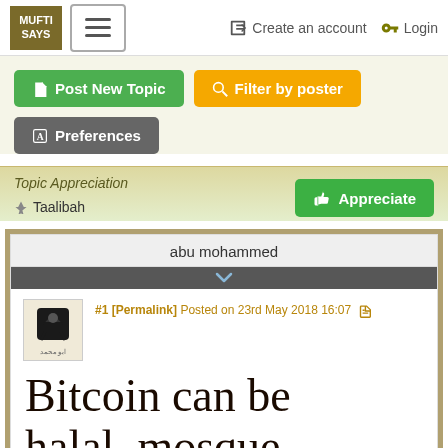MUFTI SAYS | Create an account | Login
Post New Topic
Filter by poster
Preferences
Topic Appreciation
Taalibah
abu mohammed
#1 [Permalink] Posted on 23rd May 2018 16:07
Bitcoin can be halal, mosque